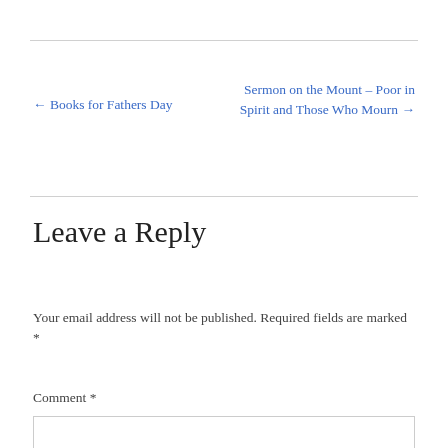← Books for Fathers Day
Sermon on the Mount – Poor in Spirit and Those Who Mourn →
Leave a Reply
Your email address will not be published. Required fields are marked *
Comment *